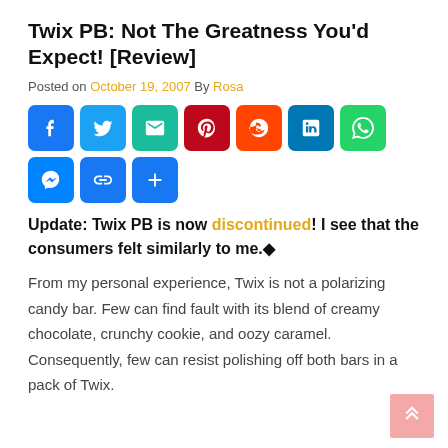Twix PB: Not The Greatness You'd Expect! [Review]
Posted on October 19, 2007 By Rosa
[Figure (infographic): Row of social media share buttons: Facebook, Twitter, Email, Pinterest, Reddit, LinkedIn, WhatsApp, Messenger, Copy Link, and a plus/more button]
Update: Twix PB is now discontinued! I see that the consumers felt similarly to me.◆
From my personal experience, Twix is not a polarizing candy bar. Few can find fault with its blend of creamy chocolate, crunchy cookie, and oozy caramel. Consequently, few can resist polishing off both bars in a pack of Twix.